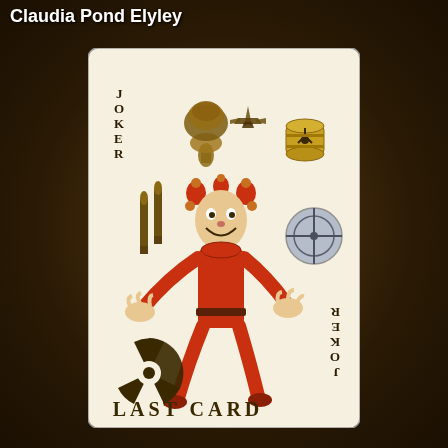Claudia Pond Elyley
[Figure (illustration): A playing card joker card titled 'LAST CARD'. The card shows a jester/joker figure in red costume sitting cross-legged with arms raised, surrounded by military and nuclear symbols: missiles/bullets on the left, a nuclear explosion mushroom cloud, a fighter jet, a nuclear waste barrel (yellow with radiation symbol), a crosshair/target scope on the right, and a radiation symbol in the lower left. The word JOKER appears vertically on the upper left of the card, and JOKER appears upside-down vertically on the lower right. The text 'LAST CARD' appears at the bottom of the card.]